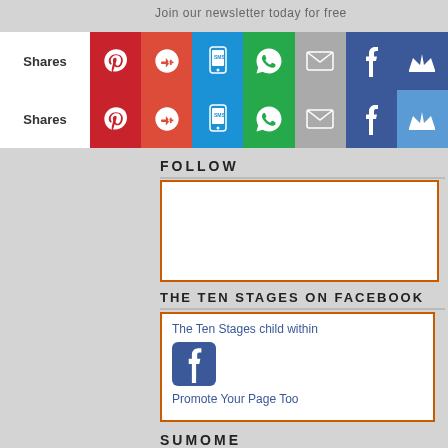Join our newsletter today for free
[Figure (screenshot): Share bar row 1 with Shares label and social icons: Pinterest, Google+, SMS, WhatsApp, Email, Facebook, Sumo]
[Figure (screenshot): Share bar row 2 with Shares label and social icons: Pinterest, Google+, SMS, WhatsApp, Email, Facebook, Sumo]
FOLLOW
[Figure (other): Orange-bordered white box widget area (empty follow widget)]
THE TEN STAGES ON FACEBOOK
[Figure (screenshot): Facebook page widget showing 'The Ten Stages child within' link, Facebook icon, and 'Promote Your Page Too' link]
SUMOME